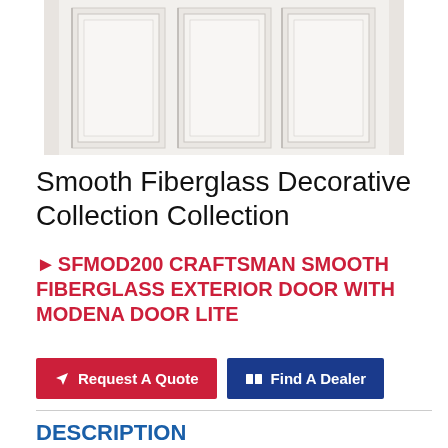[Figure (photo): A white smooth fiberglass decorative door panel showing raised panel details, photographed from above showing the top portion of the door with multiple rectangular raised panels.]
Smooth Fiberglass Decorative Collection Collection
SFMOD200 CRAFTSMAN SMOOTH FIBERGLASS EXTERIOR DOOR WITH MODENA DOOR LITE
Request A Quote
Find A Dealer
DESCRIPTION
The SFMOD-200 Craftsman Smooth Fiberglass Decorative Collection Exterior Door features our